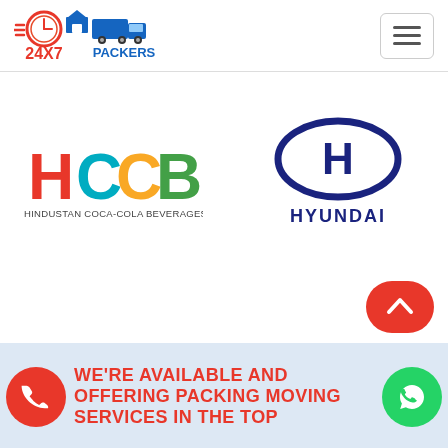[Figure (logo): 24X7 Packers logo with clock, house and truck icon, orange and blue text]
[Figure (logo): HCCB - Hindustan Coca-Cola Beverages Pvt. Ltd. logo with colorful letters]
[Figure (logo): Hyundai logo with H emblem and HYUNDAI text in dark blue]
WE'RE AVAILABLE AND OFFERING PACKING MOVING SERVICES IN THE TOP